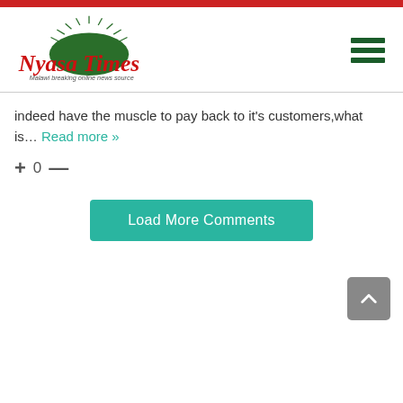Nyasa Times — Malawi breaking online news source
indeed have the muscle to pay back to it's customers,what is… Read more »
+ 0 —
Load More Comments
[Figure (other): Back to top button with upward chevron arrow on grey rounded square background]